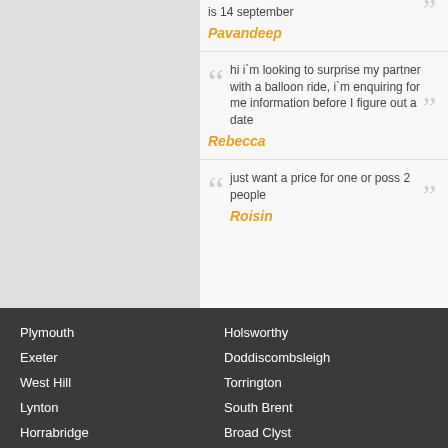is 14 september
Pavandeep
hi i`m looking to surprise my partner with a balloon ride, i`m enquiring for me information before I figure out a date
Rebecca
just want a price for one or poss 2 people
Roisin
Plymouth
Exeter
West Hill
Lynton
Horrabridge
Chawleigh
Black Torrington
Holsworthy
Doddiscombsleigh
Torrington
South Brent
Broad Clyst
Buckfastleigh
Dowland